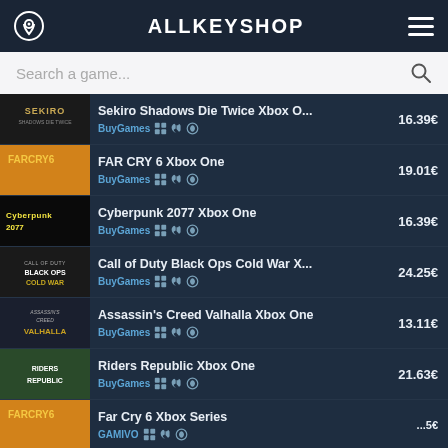ALLKEYSHOP
Search a game...
Sekiro Shadows Die Twice Xbox O... | BuyGames | 16.39€
FAR CRY 6 Xbox One | BuyGames | 19.01€
Cyberpunk 2077 Xbox One | BuyGames | 16.39€
Call of Duty Black Ops Cold War X... | BuyGames | 24.25€
Assassin's Creed Valhalla Xbox One | BuyGames | 13.11€
Riders Republic Xbox One | BuyGames | 21.63€
Far Cry 6 Xbox Series | GAMIVO | 5€
GTA 5 Xbox One | | 11.72€